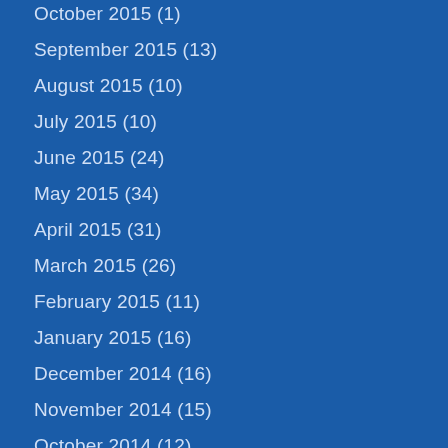October 2015 (1)
September 2015 (13)
August 2015 (10)
July 2015 (10)
June 2015 (24)
May 2015 (34)
April 2015 (31)
March 2015 (26)
February 2015 (11)
January 2015 (16)
December 2014 (16)
November 2014 (15)
October 2014 (12)
September 2014 (11)